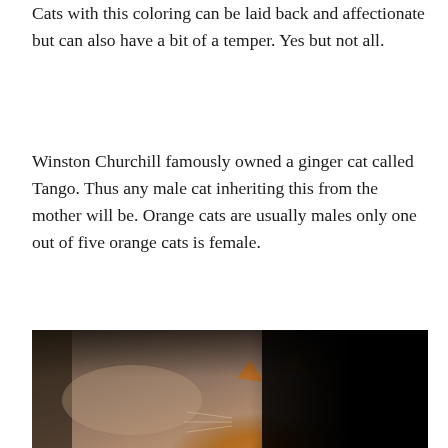Cats with this coloring can be laid back and affectionate but can also have a bit of a temper. Yes but not all.
Winston Churchill famously owned a ginger cat called Tango. Thus any male cat inheriting this from the mother will be. Orange cats are usually males only one out of five orange cats is female.
[Figure (photo): A ginger/orange cat resting on what appears to be a beige/tan car seat or upholstered furniture. The cat's face and ears are visible in the lower right portion. The upper right of the image is very dark/black, possibly another cat or dark background.]